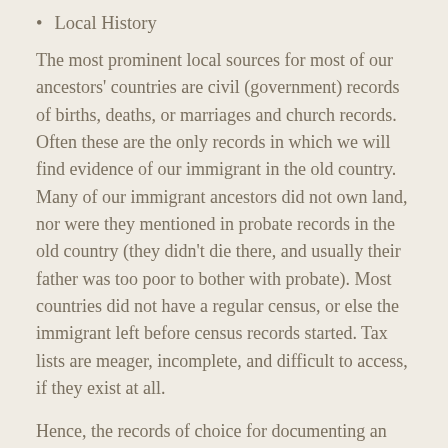Local History
The most prominent local sources for most of our ancestors' countries are civil (government) records of births, deaths, or marriages and church records. Often these are the only records in which we will find evidence of our immigrant in the old country. Many of our immigrant ancestors did not own land, nor were they mentioned in probate records in the old country (they didn't die there, and usually their father was too poor to bother with probate). Most countries did not have a regular census, or else the immigrant left before census records started. Tax lists are meager, incomplete, and difficult to access, if they exist at all.
Hence, the records of choice for documenting an immigrant's birth and life in his or her birth country are the local records of birth, marriage, or death kept by the church or the government. For most countries, however, the government did not begin keeping civil